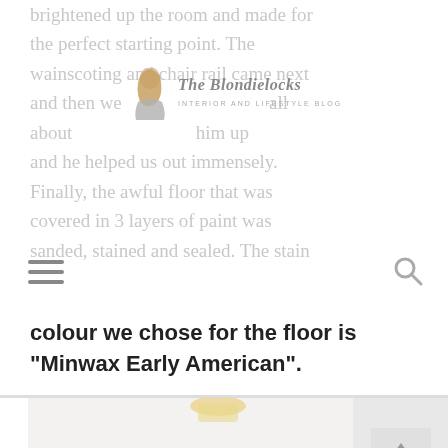brightened up the room and made for the perfect starting point. The wainscoting and chair rail came next and then we hired someone to tell us about... from up and he helped us out immensely. Finally, the awful floor that was covered in 3 layers of paint was sanded, stained and sealed. The stain colour we chose for the floor is "Minwax Early American".
[Figure (logo): The Blondielocks blog logo with illustrated woman figure and cursive text]
colour we chose for the floor is "Minwax Early American".
[Figure (photo): Interior room photo showing a white wall niche with a gold flush-mount ceiling light, two clear acrylic floating bookshelves with children's books displayed, light blue/teal textured wallpaper in the niche, and a partial view of a white upholstered piece of furniture at the bottom.]